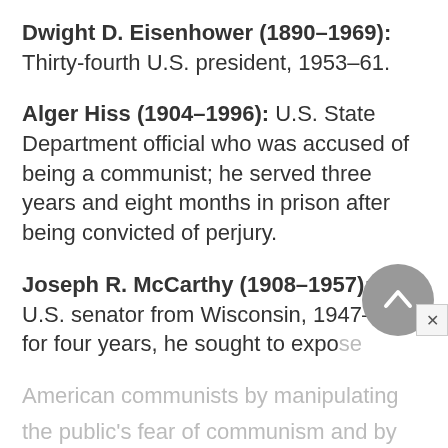Dwight D. Eisenhower (1890–1969): Thirty-fourth U.S. president, 1953–61.
Alger Hiss (1904–1996): U.S. State Department official who was accused of being a communist; he served three years and eight months in prison after being convicted of perjury.
Joseph R. McCarthy (1908–1957): U.S. senator from Wisconsin, 1947–58; for four years, he sought to expose American communists by manipulating the public's fear of communism and by...